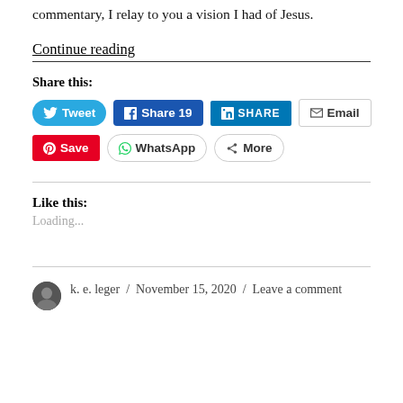commentary, I relay to you a vision I had of Jesus.
Continue reading
Share this:
[Figure (screenshot): Social share buttons: Tweet, Share 19 (Facebook), SHARE (LinkedIn), Email, Save (Pinterest), WhatsApp, More]
Like this:
Loading...
k. e. leger / November 15, 2020 / Leave a comment